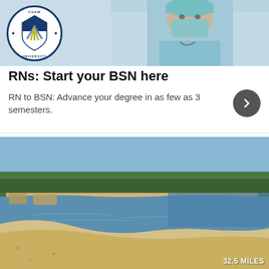[Figure (photo): Advertisement card with Chamberlain University logo on left and nurse wearing mask and surgical cap on right]
RNs: Start your BSN here
RN to BSN: Advance your degree in as few as 3 semesters.
[Figure (photo): Coastal beach photo showing sandy beach curving along a blue bay with rocky cliffs and trees in background. Label shows 32.5 MILES.]